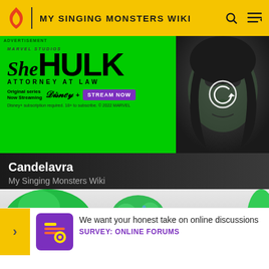MY SINGING MONSTERS WIKI
[Figure (screenshot): She-Hulk Attorney at Law Disney+ advertisement on green background with character image on the right]
Candelavra
My Singing Monsters Wiki
[Figure (illustration): Candelavra monster character illustration with colorful green, blue, purple and teal colors]
We want your honest take on online discussions
SURVEY: ONLINE FORUMS